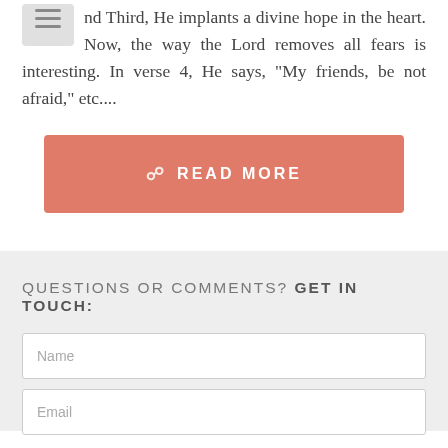and Third, He implants a divine hope in the heart. Now, the way the Lord removes all fears is interesting. In verse 4, He says, "My friends, be not afraid," etc....
[Figure (other): READ MORE button in coral/salmon color with a book/page icon]
QUESTIONS OR COMMENTS? GET IN TOUCH:
Name
Email